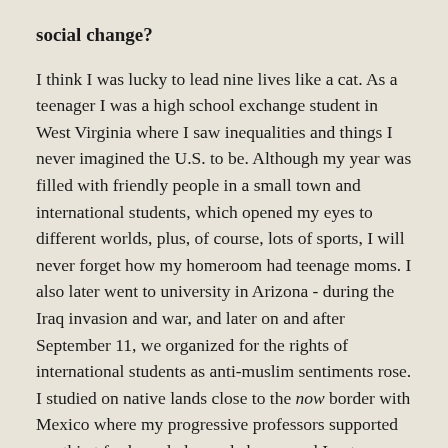social change?
I think I was lucky to lead nine lives like a cat. As a teenager I was a high school exchange student in West Virginia where I saw inequalities and things I never imagined the U.S. to be. Although my year was filled with friendly people in a small town and international students, which opened my eyes to different worlds, plus, of course, lots of sports, I will never forget how my homeroom had teenage moms. I also later went to university in Arizona - during the Iraq invasion and war, and later on and after September 11, we organized for the rights of international students as anti-muslim sentiments rose. I studied on native lands close to the now border with Mexico where my progressive professors supported my thirst for knowledge and change and I got involved in many organizations there.